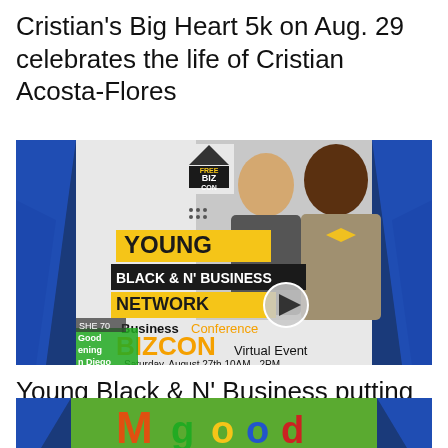Cristian's Big Heart 5k on Aug. 29 celebrates the life of Cristian Acosta-Flores
[Figure (screenshot): Video thumbnail for Young Black & N' Business Network - BIZCON Business Conference Virtual Event, Saturday August 27th 10AM-2PM, Text BIZCON to (619)215-5222, shown on a TV broadcast with 'Good Morning San Diego' banner]
Young Black & N' Business putting on Bizcon, Saturday Aug. 27
[Figure (screenshot): Partial video thumbnail showing colorful letters on a TV broadcast screen, partially visible at bottom of page]